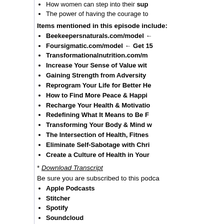How women can step into their sup...
The power of having the courage to...
Items mentioned in this episode include:
Beekeepersnaturals.com/model ←
Foursigmatic.com/model ← Get 15...
Transformationalnutrition.com/m...
Increase Your Sense of Value with...
Gaining Strength from Adversity ...
Reprogram Your Life for Better He...
How to Find More Peace & Happin...
Recharge Your Health & Motivatio...
Redefining What It Means to Be F...
Transforming Your Body & Mind w...
The Intersection of Health, Fitnes...
Eliminate Self-Sabotage with Chri...
Create a Culture of Health in Your...
* Download Transcript
Be sure you are subscribed to this podca...
Apple Podcasts
Stitcher
Spotify
Soundcloud
Join TMHS Facebook community - Model N...
Direct download: 401-Beat_Insecurities_Boost_Self...
Category: general -- posted at: 9:20pm CDT
Sun, 1 March 2020
TMHS 400: How Ne... & The End Of Menta...